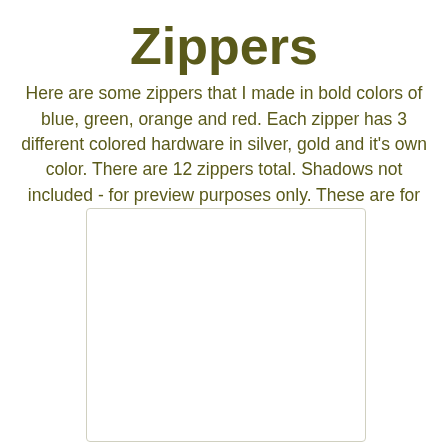Zippers
Here are some zippers that I made in bold colors of blue, green, orange and red. Each zipper has 3 different colored hardware in silver, gold and it's own color. There are 12 zippers total. Shadows not included - for preview purposes only. These are for personal use only.
[Figure (other): White blank preview rectangle with light border, representing a preview area for zipper images]